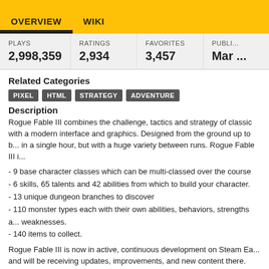OVERVIEW   WIKI
| PLAYS | RATINGS | FAVORITES | PUBLI... |
| --- | --- | --- | --- |
| 2,998,359 | 2,934 | 3,457 | Mar ... |
Related Categories
PIXEL
HTML
STRATEGY
ADVENTURE
Description
Rogue Fable III combines the challenge, tactics and strategy of classic with a modern interface and graphics. Designed from the ground up to be played in a single hour, but with a huge variety between runs. Rogue Fable III i...
- 9 base character classes which can be multi-classed over the course
- 6 skills, 65 talents and 42 abilities from which to build your character.
- 13 unique dungeon branches to discover
- 110 monster types each with their own abilities, behaviors, strengths and weaknesses.
- 140 items to collect.
Rogue Fable III is now in active, continuous development on Steam Ea and will be receiving updates, improvements, and new content there. Th version is, nonetheless, a completed game in itself and will continue to...